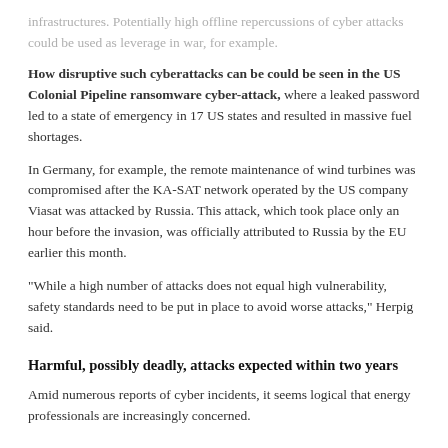infrastructures. Potentially high offline repercussions of cyber attacks could be used as leverage in war, for example.
How disruptive such cyberattacks can be could be seen in the US Colonial Pipeline ransomware cyber-attack, where a leaked password led to a state of emergency in 17 US states and resulted in massive fuel shortages.
In Germany, for example, the remote maintenance of wind turbines was compromised after the KA-SAT network operated by the US company Viasat was attacked by Russia. This attack, which took place only an hour before the invasion, was officially attributed to Russia by the EU earlier this month.
“While a high number of attacks does not equal high vulnerability, safety standards need to be put in place to avoid worse attacks,” Herpig said.
Harmful, possibly deadly, attacks expected within two years
Amid numerous reports of cyber incidents, it seems logical that energy professionals are increasingly concerned.